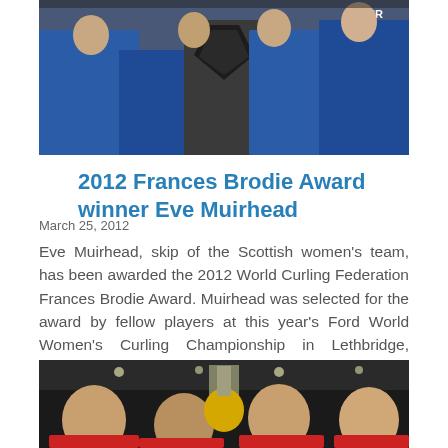[Figure (photo): Group photo of Scottish women's curling team in blue jackets holding a shield/plaque trophy at the Ford World Women's Curling Championship]
2012 Frances Brodie Award winner Eve Muirhead
March 25, 2012
Eve Muirhead, skip of the Scottish women's team, has been awarded the 2012 World Curling Federation Frances Brodie Award. Muirhead was selected for the award by fellow players at this year's Ford World Women's Curling Championship in Lethbridge, Canada.
[Figure (photo): Four women (curling team members) smiling and posing with a gold trophy/curling stone trophy in an indoor arena]